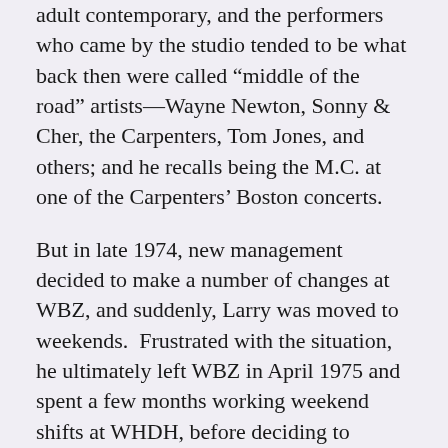adult contemporary, and the performers who came by the studio tended to be what back then were called “middle of the road” artists—Wayne Newton, Sonny & Cher, the Carpenters, Tom Jones, and others; and he recalls being the M.C. at one of the Carpenters’ Boston concerts.

But in late 1974, new management decided to make a number of changes at WBZ, and suddenly, Larry was moved to weekends. Frustrated with the situation, he ultimately left WBZ in April 1975 and spent a few months working weekend shifts at WHDH, before deciding to become a full-time voice-over announcer. For the next several years, he worked for a talent agency in New York, voicing local and national commercials. But while he was well-paid, he missed Boston radio, and in January 1980, he joined WROR-FM, doing afternoon drive. He remained there for more than two years. But in November 1982, he suddenly found himself out of a job. Fortunately, he was still